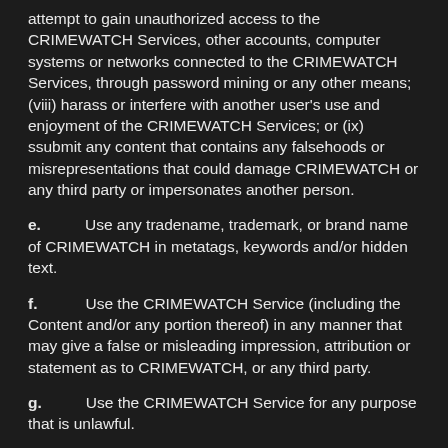attempt to gain unauthorized access to the CRIMEWATCH Services, other accounts, computer systems or networks connected to the CRIMEWATCH Services, through password mining or any other means; (viii) harass or interfere with another user's use and enjoyment of the CRIMEWATCH Services; or (ix) ssubmit any content that contains any falsehoods or misrepresentations that could damage CRIMEWATCH or any third party or impersonates another person.
e. Use any tradename, trademark, or brand name of CRIMEWATCH in metatags, keywords and/or hidden text.
f. Use the CRIMEWATCH Service (including the Content and/or any portion thereof) in any manner that may give a false or misleading impression, attribution or statement as to CRIMEWATCH, or any third party.
g. Use the CRIMEWATCH Service for any purpose that is unlawful.
h. Use automated systems (e.g., robots, spiders) on the CRIMEWATCH Service. Notwithstanding the foregoing, CRIMEWATCH grants the operators of public search